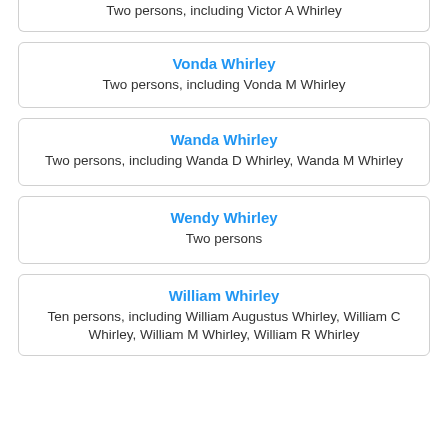Two persons, including Victor A Whirley
Vonda Whirley
Two persons, including Vonda M Whirley
Wanda Whirley
Two persons, including Wanda D Whirley, Wanda M Whirley
Wendy Whirley
Two persons
William Whirley
Ten persons, including William Augustus Whirley, William C Whirley, William M Whirley, William R Whirley